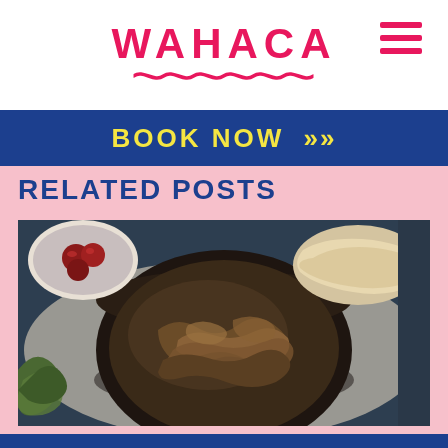WAHACA
BOOK NOW >>>
RELATED POSTS
[Figure (photo): Overhead shot of a black bowl filled with pulled/shredded meat, with a bowl of tomatoes and flatbreads in the background on a linen cloth, with herbs visible on the left]